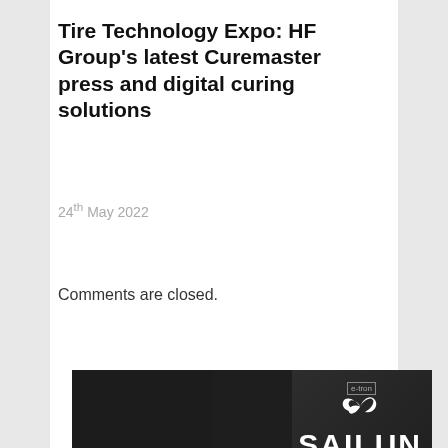Tire Technology Expo: HF Group's latest Curemaster press and digital curing solutions
24th May 2022
Comments are closed.
[Figure (photo): Sailun Tyre advertisement showing a vehicle wheel/tire on a dark background with the Sailun Tyre logo and tagline 'SMART FORWARD.' A cookie consent bar overlays the bottom right with text 'This site uses cookies. By continuing to browse the site you are agreeing to our use of cookies. Find out more here [X]']